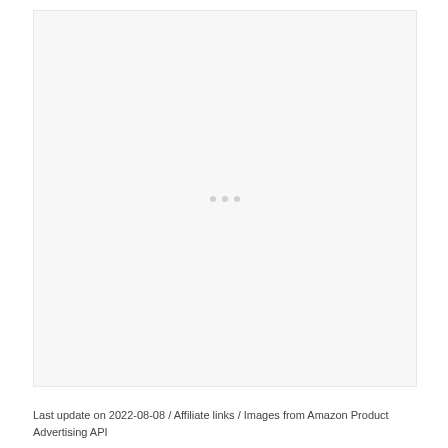[Figure (other): Large placeholder image area with loading dots indicator in the center]
Last update on 2022-08-08 / Affiliate links / Images from Amazon Product Advertising API